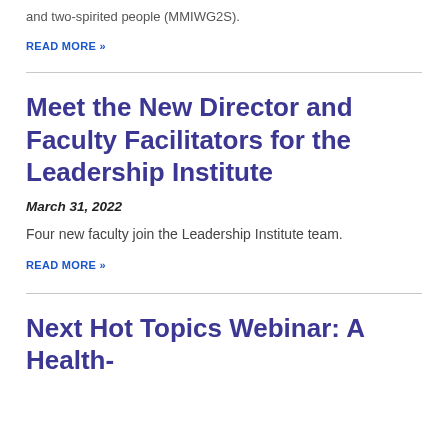and two-spirited people (MMIWG2S).
READ MORE »
Meet the New Director and Faculty Facilitators for the Leadership Institute
March 31, 2022
Four new faculty join the Leadership Institute team.
READ MORE »
Next Hot Topics Webinar: A Health-